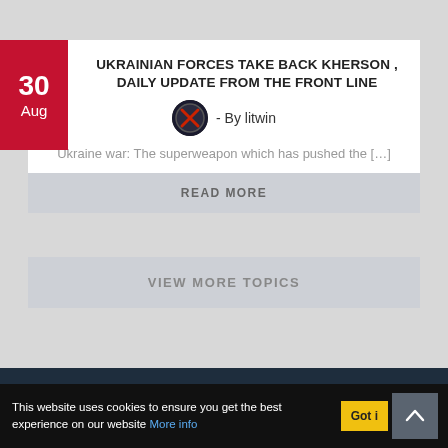UKRAINIAN FORCES TAKE BACK KHERSON , DAILY UPDATE FROM THE FRONT LINE
- By litwin
Ukraine war: The superweapon which has pushed the […]
READ MORE
VIEW MORE TOPICS
Advertise  Privacy  Flame Warriors  Terms  Contact  The Magazine
This website uses cookies to ensure you get the best experience on our website More info  Got it